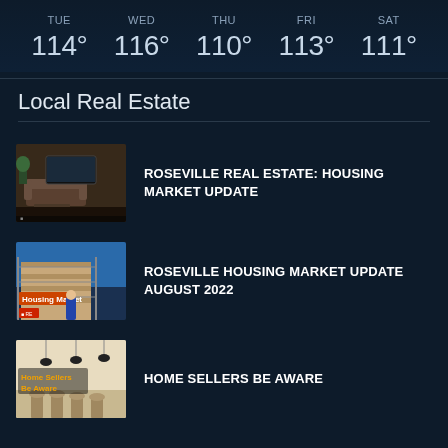TUE 114° / WED 116° / THU 110° / FRI 113° / SAT 111°
Local Real Estate
ROSEVILLE REAL ESTATE: HOUSING MARKET UPDATE
ROSEVILLE HOUSING MARKET UPDATE AUGUST 2022
HOME SELLERS BE AWARE